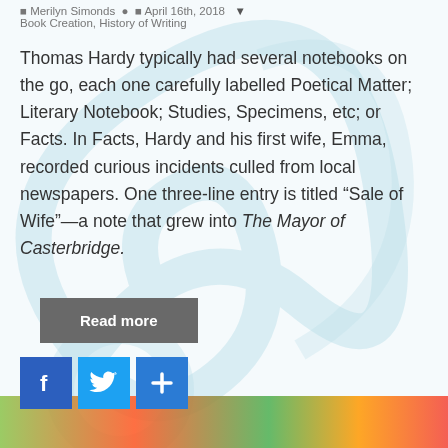Merilyn Simonds · April 16th, 2018 · Book Creation, History of Writing
Thomas Hardy typically had several notebooks on the go, each one carefully labelled Poetical Matter; Literary Notebook; Studies, Specimens, etc; or Facts. In Facts, Hardy and his first wife, Emma, recorded curious incidents culled from local newspapers. One three-line entry is titled “Sale of Wife”—a note that grew into The Mayor of Casterbridge.
[Figure (screenshot): A gray 'Read more' button]
[Figure (screenshot): Social sharing icons: Facebook (blue f), Twitter (blue bird), and a blue plus/share button]
[Figure (illustration): Colorful image strip at the bottom of the page]